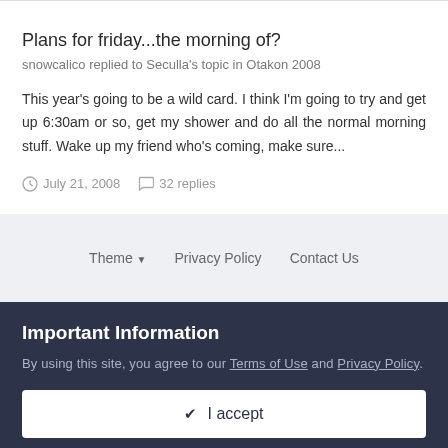Plans for friday...the morning of?
snowcalico replied to Seculla's topic in Otakon 2008
This year's going to be a wild card. I think I'm going to try and get up 6:30am or so, get my shower and do all the normal morning stuff. Wake up my friend who's coming, make sure...
July 21, 2008   32 replies
Theme  Privacy Policy  Contact Us
Important Information
By using this site, you agree to our Terms of Use and Privacy Policy.
✔ I accept